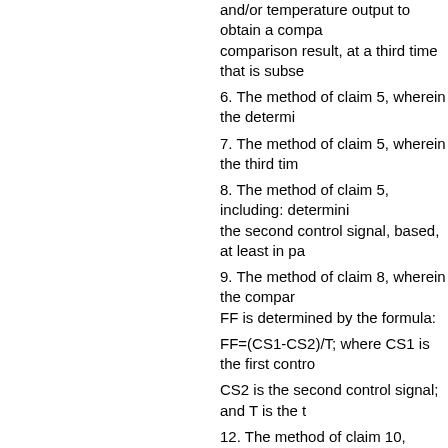and/or temperature output to obtain a comparison result, at a third time that is subse
6. The method of claim 5, wherein the determi
7. The method of claim 5, wherein the third tim
8. The method of claim 5, including: determini the second control signal, based, at least in pa
9. The method of claim 8, wherein the compar FF is determined by the formula:
FF=(CS1-CS2)/T; where CS1 is the first contro
CS2 is the second control signal; and T is the t
12. The method of claim 10, wherein T is betw
13. The method of claim 5, wherein the compa
14. The method of claim 13, wherein the VCI is
VCI=(CS1-CS2)/S where CS1 is a first control
CS2 is a second control signal; and S is the po
15. The method of claim 13, wherein the third
16. The method of claim 13, wherein S is betw
17. The method of claim 1 , wherein the compa optimal control signals based on an optimal pr
18. The method of claim 5, wherein the providi